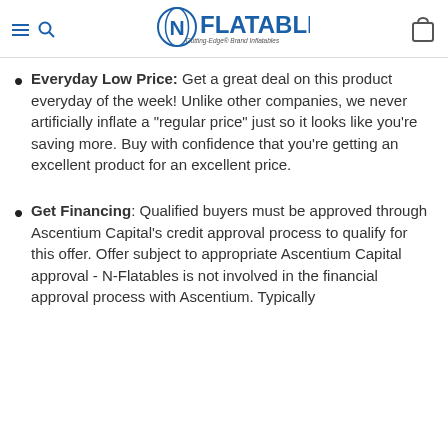N-Flatables – Cutting-Edge Brand Inflatables
Everyday Low Price: Get a great deal on this product everyday of the week! Unlike other companies, we never artificially inflate a "regular price" just so it looks like you're saving more. Buy with confidence that you're getting an excellent product for an excellent price.
Get Financing: Qualified buyers must be approved through Ascentium Capital's credit approval process to qualify for this offer. Offer subject to appropriate Ascentium Capital approval - N-Flatables is not involved in the financial approval process with Ascentium. Typically